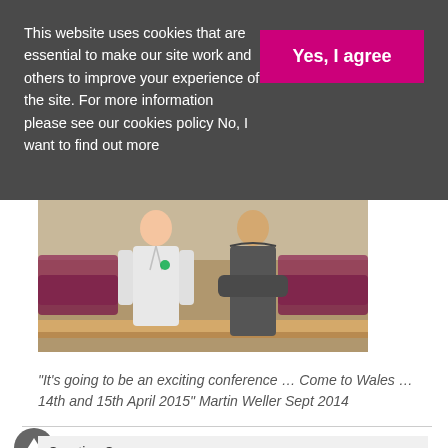This website uses cookies that are essential to make our site work and others to improve your experience of the site. For more information please see our cookies policy No, I want to find out more
[Figure (photo): Two people standing in a lecture room with tiered seating and wooden desks. One person is in a white shirt, the other in a dark hoodie with arms crossed.]
"It's going to be an exciting conference … Come to Wales … 14th and 15th April 2015" Martin Weller Sept 2014
Creative Commons